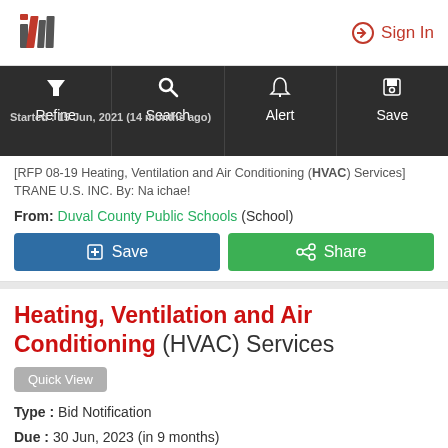[Figure (logo): im logo with red and dark grey stylized letters i and m]
Sign In
Started : 15 Jun, 2021 (14 months ago)
Refine  Search  Alert  Save
[RFP 08-19 Heating, Ventilation and Air Conditioning (HVAC) Services] TRANE U.S. INC. By: Na ichae!
From: Duval County Public Schools (School)
Save
Share
Heating, Ventilation and Air Conditioning (HVAC) Services
Quick View
Type : Bid Notification
Due : 30 Jun, 2023 (in 9 months)
Posted : 11 months ago
Started : 21 Sep, 2021 (11 months ago)